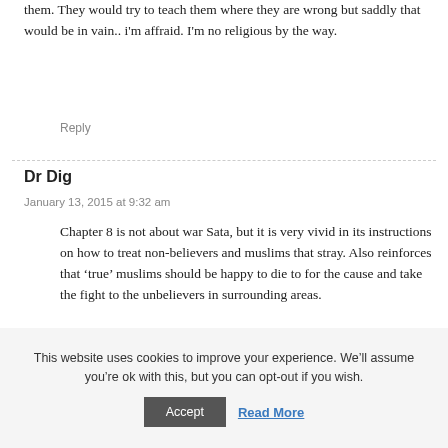them. They would try to teach them where they are wrong but saddly that would be in vain.. i'm affraid. I'm no religious by the way.
Reply
Dr Dig
January 13, 2015 at 9:32 am
Chapter 8 is not about war Sata, but it is very vivid in its instructions on how to treat non-believers and muslims that stray. Also reinforces that ‘true’ muslims should be happy to die to for the cause and take the fight to the unbelievers in surrounding areas.
Reply
This website uses cookies to improve your experience. We’ll assume you’re ok with this, but you can opt-out if you wish.
Accept
Read More